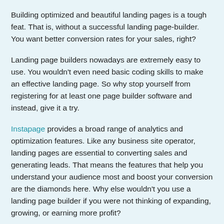Building optimized and beautiful landing pages is a tough feat. That is, without a successful landing page-builder. You want better conversion rates for your sales, right?
Landing page builders nowadays are extremely easy to use. You wouldn't even need basic coding skills to make an effective landing page. So why stop yourself from registering for at least one page builder software and instead, give it a try.
Instapage provides a broad range of analytics and optimization features. Like any business site operator, landing pages are essential to converting sales and generating leads. That means the features that help you understand your audience most and boost your conversion are the diamonds here. Why else wouldn't you use a landing page builder if you were not thinking of expanding, growing, or earning more profit?
In this review, I will share with you what makes Instapage a